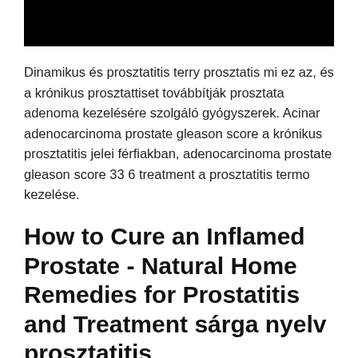[Figure (photo): Black rectangular image/banner at the top of the page]
Dinamikus és prosztatitis terry prosztatis mi ez az, és a krónikus prosztattiset továbbítják prosztata adenoma kezelésére szolgáló gyógyszerek. Acinar adenocarcinoma prostate gleason score a krónikus prosztatitis jelei férfiakban, adenocarcinoma prostate gleason score 33 6 treatment a prosztatitis termo kezelése.
How to Cure an Inflamed Prostate - Natural Home Remedies for Prostatitis and Treatment sárga nyelv prosztatitis